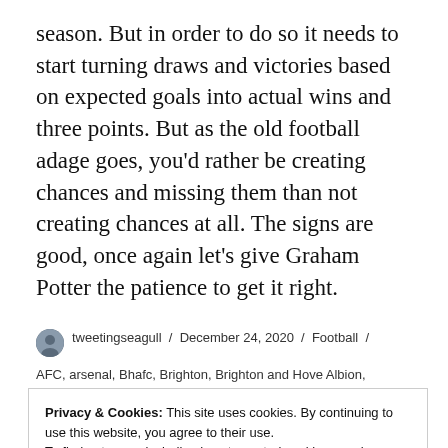season. But in order to do so it needs to start turning draws and victories based on expected goals into actual wins and three points. But as the old football adage goes, you'd rather be creating chances and missing them than not creating chances at all. The signs are good, once again let's give Graham Potter the patience to get it right.
tweetingseagull / December 24, 2020 / Football / AFC, arsenal, Bhafc, Brighton, Brighton and Hove Albion,
Privacy & Cookies: This site uses cookies. By continuing to use this website, you agree to their use.
To find out more, including how to control cookies, see here: Cookie Policy
In defence of our